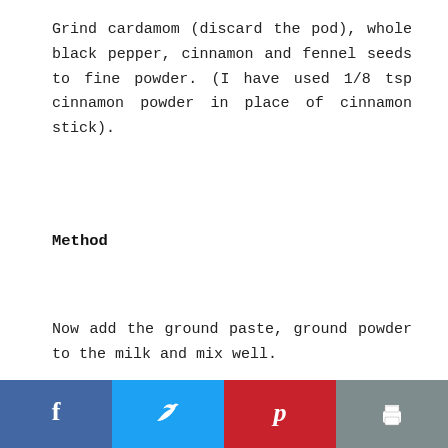Grind cardamom (discard the pod), whole black pepper, cinnamon and fennel seeds to fine powder. (I have used 1/8 tsp cinnamon powder in place of cinnamon stick).
Method
Now add the ground paste, ground powder to the milk and mix well.
[Figure (photo): Three side-by-side photos showing steps of mixing ground paste and powder into milk in a pan, and whisking it together.]
Facebook | Twitter | Pinterest | Print